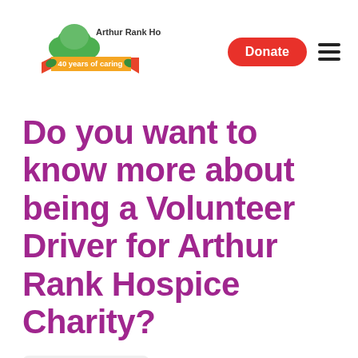[Figure (logo): Arthur Rank Hospice Charity logo with tree graphic and '40 years of caring' banner ribbon]
Do you want to know more about being a Volunteer Driver for Arthur Rank Hospice Charity?
26 March 2020